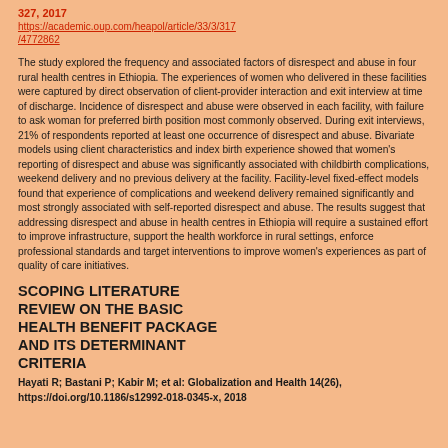327, 2017
https://academic.oup.com/heapol/article/33/3/317/4772862
The study explored the frequency and associated factors of disrespect and abuse in four rural health centres in Ethiopia. The experiences of women who delivered in these facilities were captured by direct observation of client-provider interaction and exit interview at time of discharge. Incidence of disrespect and abuse were observed in each facility, with failure to ask woman for preferred birth position most commonly observed. During exit interviews, 21% of respondents reported at least one occurrence of disrespect and abuse. Bivariate models using client characteristics and index birth experience showed that women's reporting of disrespect and abuse was significantly associated with childbirth complications, weekend delivery and no previous delivery at the facility. Facility-level fixed-effect models found that experience of complications and weekend delivery remained significantly and most strongly associated with self-reported disrespect and abuse. The results suggest that addressing disrespect and abuse in health centres in Ethiopia will require a sustained effort to improve infrastructure, support the health workforce in rural settings, enforce professional standards and target interventions to improve women's experiences as part of quality of care initiatives.
SCOPING LITERATURE REVIEW ON THE BASIC HEALTH BENEFIT PACKAGE AND ITS DETERMINANT CRITERIA
Hayati R; Bastani P; Kabir M; et al: Globalization and Health 14(26), https://doi.org/10.1186/s12992-018-0345-x, 2018